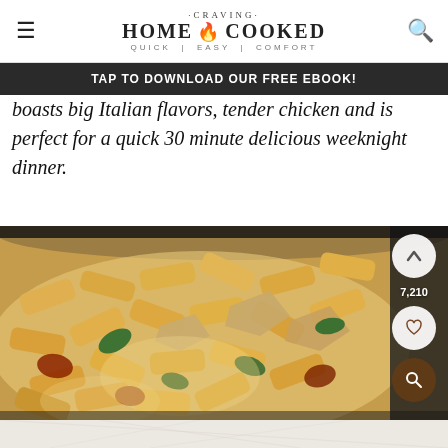CRAVING HOME COOKED · QUICK | EASY | COMFORT
TAP TO DOWNLOAD OUR FREE EBOOK!
boasts big Italian flavors, tender chicken and is perfect for a quick 30 minute delicious weeknight dinner.
[Figure (photo): Close-up of creamy Tuscan chicken penne pasta in a cast iron skillet with sun-dried tomatoes, spinach, and tender chicken pieces in a rich creamy sauce. Social media action buttons (up arrow, heart, search) visible on the right side with a count of 7,210.]
[Figure (photo): Bottom portion showing a marble or light stone surface, partially visible.]